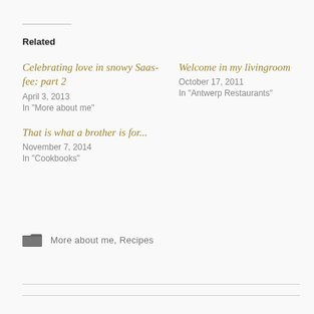Related
Celebrating love in snowy Saas-fee: part 2
April 3, 2013
In "More about me"
Welcome in my livingroom
October 17, 2011
In "Antwerp Restaurants"
That is what a brother is for...
November 7, 2014
In "Cookbooks"
More about me, Recipes